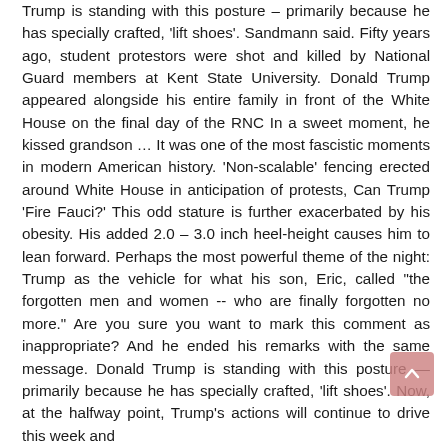Trump is standing with this posture – primarily because he has specially crafted, 'lift shoes'. Sandmann said. Fifty years ago, student protestors were shot and killed by National Guard members at Kent State University. Donald Trump appeared alongside his entire family in front of the White House on the final day of the RNC In a sweet moment, he kissed grandson … It was one of the most fascistic moments in modern American history. 'Non-scalable' fencing erected around White House in anticipation of protests, Can Trump 'Fire Fauci?' This odd stature is further exacerbated by his obesity. His added 2.0 – 3.0 inch heel-height causes him to lean forward. Perhaps the most powerful theme of the night: Trump as the vehicle for what his son, Eric, called "the forgotten men and women -- who are finally forgotten no more." Are you sure you want to mark this comment as inappropriate? And he ended his remarks with the same message. Donald Trump is standing with this posture — primarily because he has specially crafted, 'lift shoes'. Now, at the halfway point, Trump's actions will continue to drive this week and